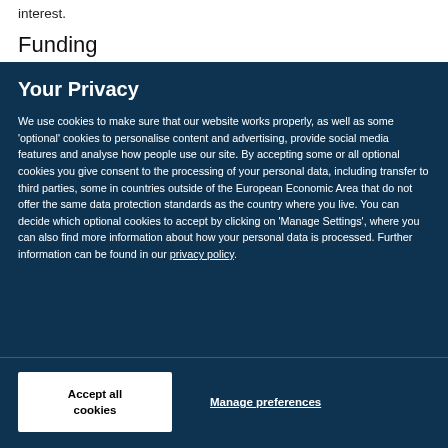interest.
Funding
Your Privacy
We use cookies to make sure that our website works properly, as well as some ‘optional’ cookies to personalise content and advertising, provide social media features and analyse how people use our site. By accepting some or all optional cookies you give consent to the processing of your personal data, including transfer to third parties, some in countries outside of the European Economic Area that do not offer the same data protection standards as the country where you live. You can decide which optional cookies to accept by clicking on ‘Manage Settings’, where you can also find more information about how your personal data is processed. Further information can be found in our privacy policy.
Accept all cookies
Manage preferences